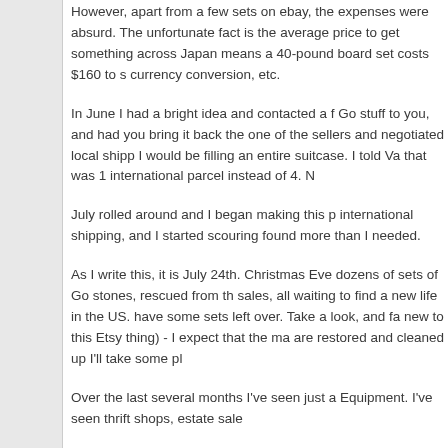However, apart from a few sets on ebay, the expenses were absurd. The unfortunate fact is the average price to get something across Japan means a 40-pound board set costs $160 to ship, currency conversion, etc.
In June I had a bright idea and contacted a friend: Go stuff to you, and had you bring it back the one of the sellers and negotiated local shipp I would be filling an entire suitcase. I told Va that was 1 international parcel instead of 4.
July rolled around and I began making this p international shipping, and I started scouring found more than I needed.
As I write this, it is July 24th. Christmas Eve dozens of sets of Go stones, rescued from th sales, all waiting to find a new life in the US. have some sets left over. Take a look, and fa new to this Etsy thing) - I expect that the ma are restored and cleaned up I'll take some pl
Over the last several months I've seen just a Equipment. I've seen thrift shops, estate sale